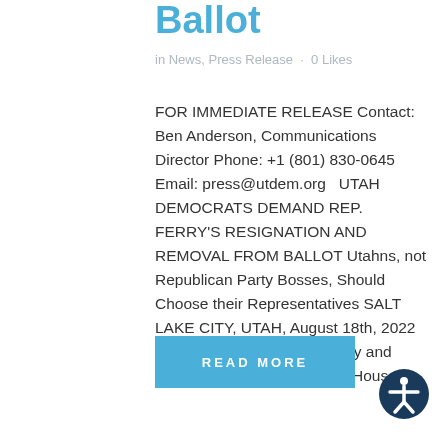Ballot
in News, Press Release · 0 Likes
FOR IMMEDIATE RELEASE Contact: Ben Anderson, Communications Director Phone: +1 (801) 830-0645 Email: press@utdem.org  UTAH DEMOCRATS DEMAND REP. FERRY'S RESIGNATION AND REMOVAL FROM BALLOT  Utahns, not Republican Party Bosses, Should Choose their Representatives  SALT LAKE CITY, UTAH, August 18th, 2022 — The Utah Democratic Party and Joshua Hardy, candidate for House…
READ MORE